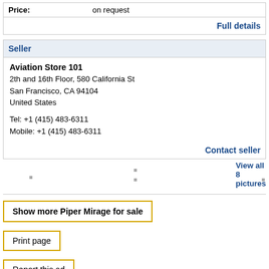Price: on request
Full details
Seller
Aviation Store 101
2th and 16th Floor, 580 California St
San Francisco, CA 94104
United States

Tel: +1 (415) 483-6311
Mobile: +1 (415) 483-6311
Contact seller
View all 8 pictures
Show more Piper Mirage for sale
Print page
Report this ad